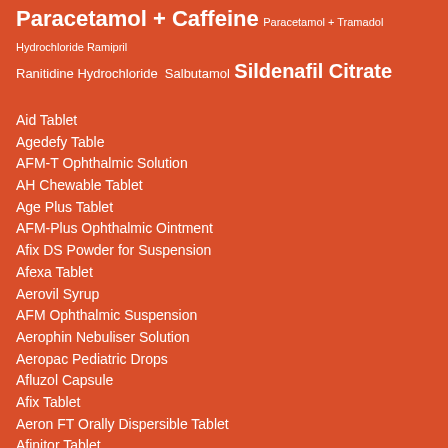Paracetamol + Caffeine Paracetamol + Tramadol Hydrochloride Ramipril Ranitidine Hydrochloride Salbutamol Sildenafil Citrate
Aid Tablet
Agedefy Table
AFM-T Ophthalmic Solution
AH Chewable Tablet
Age Plus Tablet
AFM-Plus Ophthalmic Ointment
Afix DS Powder for Suspension
Afexa Tablet
Aerovil Syrup
AFM Ophthalmic Suspension
Aerophin Nebuliser Solution
Aeropac Pediatric Drops
Afluzol Capsule
Afix Tablet
Aeron FT Orally Dispersible Tablet
Afinitor Tablet
Aeron Tablet
Afixime Capsule